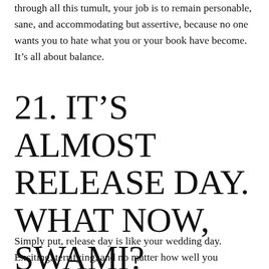through all this tumult, your job is to remain personable, sane, and accommodating but assertive, because no one wants you to hate what you or your book have become. It’s all about balance.
21. IT’S ALMOST RELEASE DAY. WHAT NOW, SWAMI?
Simply put, release day is like your wedding day. Exciting, terrifying, and no matter how well you